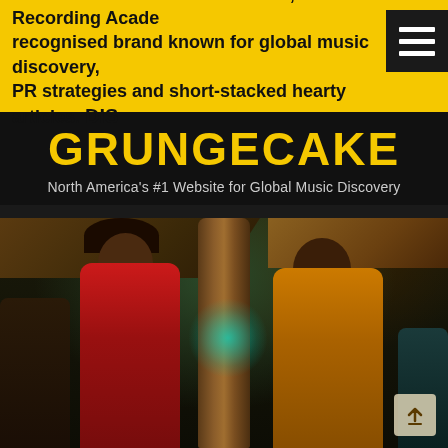Welcome to GRUNGECAKE.com, a Recording Academy recognised brand known for global music discovery, PR strategies and short-stacked hearty articles. DIS
GRUNGECAKE
North America's #1 Website for Global Music Discovery
[Figure (photo): Two performers dancing outdoors at night near a large tree trunk. A woman in a red outfit and a man in an orange/mustard outfit are featured prominently. Background shows rustic structures with teal/green lighting.]